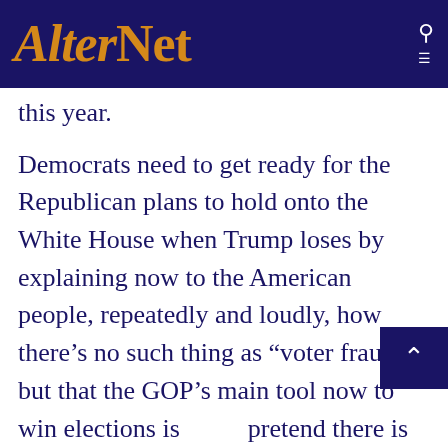AlterNet
this year.
Democrats need to get ready for the Republican plans to hold onto the White House when Trump loses by explaining now to the American people, repeatedly and loudly, how there’s no such thing as “voter fraud” but that the GOP’s main tool now to win elections is pretend there is in order to justify voter suppression and election theft.
They also need to point out that the Republicans are, right out in the open and in